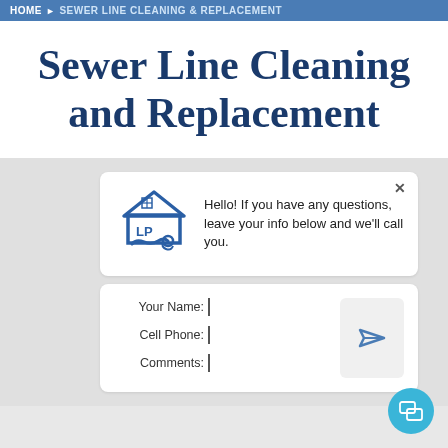HOME ▶ SEWER LINE CLEANING & REPLACEMENT
Sewer Line Cleaning and Replacement
[Figure (screenshot): Chat widget popup with company logo (house with 'LP' plumbing icon) and message: Hello! If you have any questions, leave your info below and we'll call you. Contact form with fields: Your Name, Cell Phone, Comments, and a send button arrow. A teal chat icon is visible at the bottom right.]